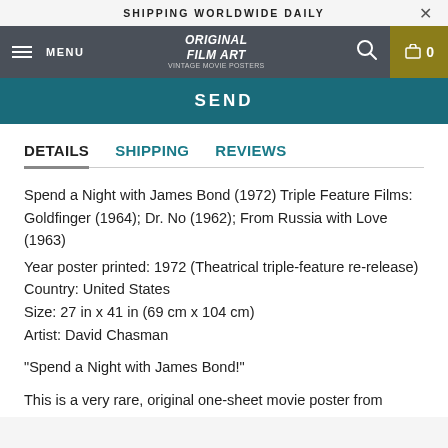SHIPPING WORLDWIDE DAILY
MENU | ORIGINAL FILM ART Vintage Movie Posters | 0
SEND
DETAILS  SHIPPING  REVIEWS
Spend a Night with James Bond (1972) Triple Feature Films: Goldfinger (1964); Dr. No (1962); From Russia with Love (1963)
Year poster printed: 1972 (Theatrical triple-feature re-release)
Country: United States
Size: 27 in x 41 in (69 cm x 104 cm)
Artist: David Chasman

"Spend a Night with James Bond!"

This is a very rare, original one-sheet movie poster from